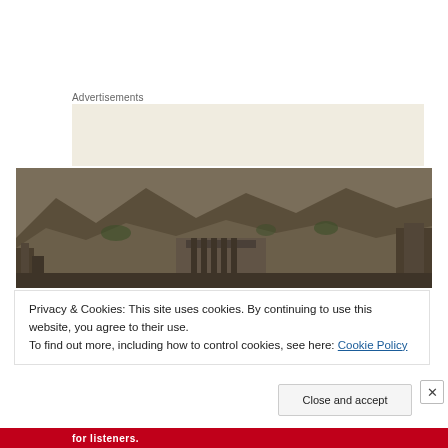Advertisements
[Figure (illustration): Advertisement banner with cream/beige background showing the word 'Professionally' in large serif font]
[Figure (photo): Landscape photograph of ancient ruins or fort walls in a hilly/mountainous terrain, brownish rocky landscape with sparse vegetation]
Privacy & Cookies: This site uses cookies. By continuing to use this website, you agree to their use.
To find out more, including how to control cookies, see here: Cookie Policy
Close and accept
for listeners.